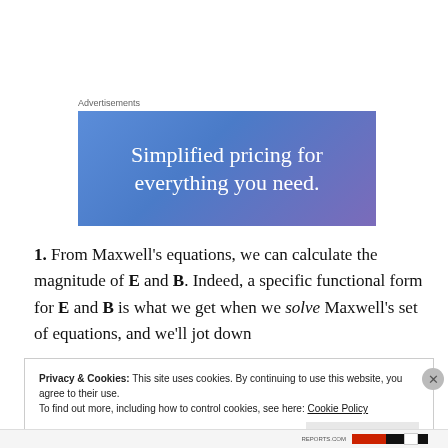Advertisements
[Figure (illustration): Advertisement banner with blue-purple gradient background and white text reading 'Simplified pricing for everything you need.']
1. From Maxwell's equations, we can calculate the magnitude of E and B. Indeed, a specific functional form for E and B is what we get when we solve Maxwell's set of equations, and we'll jot down
Privacy & Cookies: This site uses cookies. By continuing to use this website, you agree to their use.
To find out more, including how to control cookies, see here: Cookie Policy
Close and accept